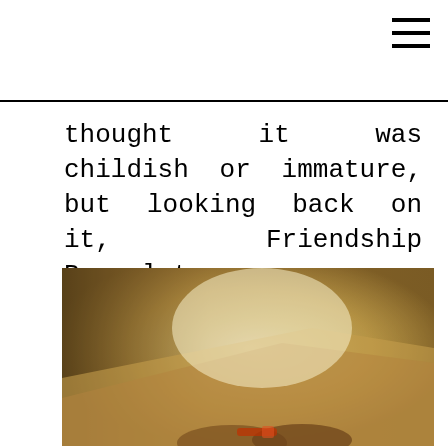☰
thought it was childish or immature, but looking back on it, Friendship Bracelets were anything but.
[Figure (photo): A warm-toned photograph showing hands with a friendship bracelet, with soft yellow-green and warm beige tones, glowing light in the center background.]